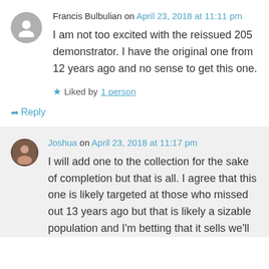Francis Bulbulian on April 23, 2018 at 11:11 pm
I am not too excited with the reissued 205 demonstrator. I have the original one from 12 years ago and no sense to get this one.
Liked by 1 person
Reply
Joshua on April 23, 2018 at 11:17 pm
I will add one to the collection for the sake of completion but that is all. I agree that this one is likely targeted at those who missed out 13 years ago but that is likely a sizable population and I'm betting that it sells we'll